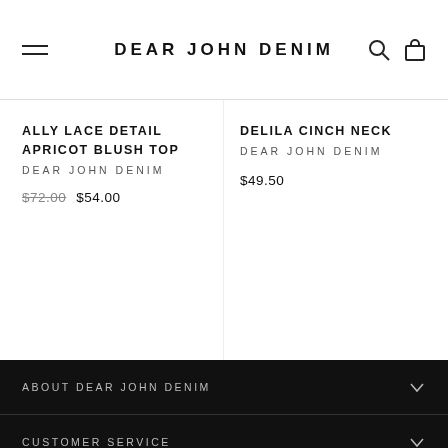DEAR JOHN DENIM
ALLY LACE DETAIL APRICOT BLUSH TOP
DEAR JOHN DENIM
$72.00  $54.00
DELILA CINCH NECK
DEAR JOHN DENIM
$49.50
ABOUT DEAR JOHN DENIM
CUSTOMER SERVICE
MAIN MENU
UP AND SAVE